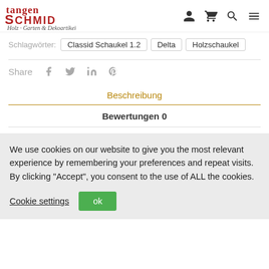Stangen Schmid Holz Garten & Dekoartikel
Schlagwörter: Classid Schaukel 1.2   Delta   Holzschaukel
Share
Beschreibung
Bewertungen 0
We use cookies on our website to give you the most relevant experience by remembering your preferences and repeat visits. By clicking "Accept", you consent to the use of ALL the cookies.
Cookie settings   ok